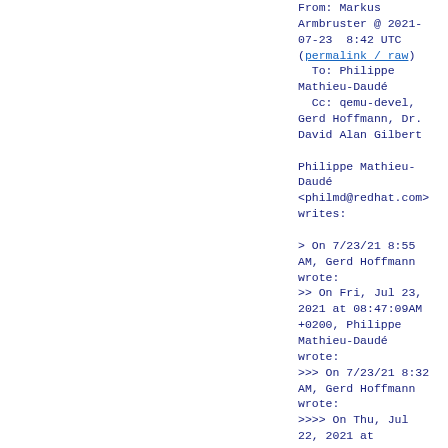From: Markus Armbruster @ 2021-07-23  8:42 UTC (permalink / raw)
  To: Philippe Mathieu-Daudé
  Cc: qemu-devel, Gerd Hoffmann, Dr. David Alan Gilbert

Philippe Mathieu-Daudé <philmd@redhat.com> writes:

> On 7/23/21 8:55 AM, Gerd Hoffmann wrote:
>> On Fri, Jul 23, 2021 at 08:47:09AM +0200, Philippe Mathieu-Daudé wrote:
>>> On 7/23/21 8:32 AM, Gerd Hoffmann wrote:
>>>> On Thu, Jul 22, 2021 at 03:44:54PM +0100, Dr. David Alan